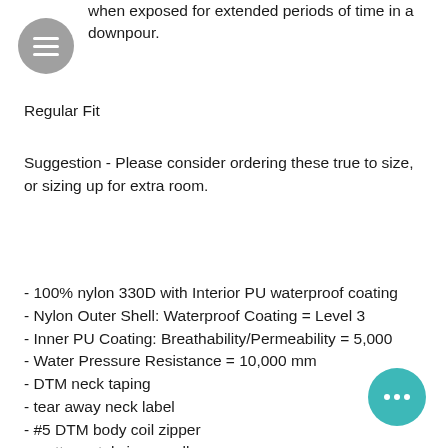when exposed for extended periods of time in a downpour.
Regular Fit
Suggestion - Please consider ordering these true to size, or sizing up for extra room.
- 100% nylon 330D with Interior PU waterproof coating
- Nylon Outer Shell: Waterproof Coating = Level 3
- Inner PU Coating: Breathability/Permeability = 5,000
- Water Pressure Resistance = 10,000 mm
- DTM neck taping
- tear away neck label
- #5 DTM body coil zipper
- matte metal zipper pull
- rubber zipper pull tab